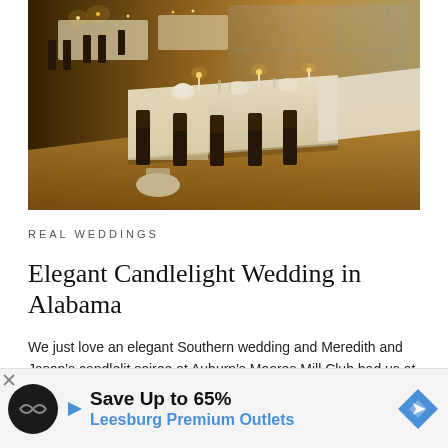[Figure (photo): Elegant wedding reception hall with long tables set with white linens, candles, floral centerpieces, and dark chiavari chairs in warm candlelit ambiance]
REAL WEDDINGS
Elegant Candlelight Wedding in Alabama
We just love an elegant Southern wedding and Meredith and Jason's candlelit soiree at Auburn's Moores Mill Club had us at hello! Invision Events worked with the couple to ... of the venue w... nley Sistrunk... d for the
[Figure (infographic): Advertisement banner: Save Up to 65% Leesburg Premium Outlets with circular logo and blue arrow icon]